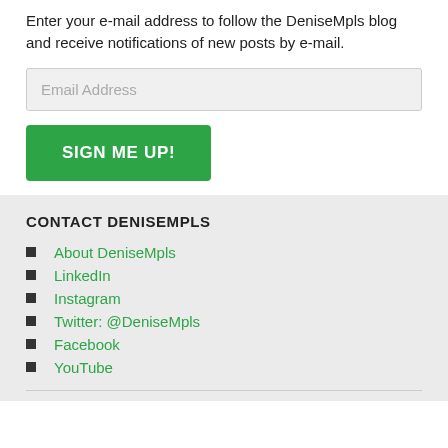Enter your e-mail address to follow the DeniseMpls blog and receive notifications of new posts by e-mail.
Email Address
SIGN ME UP!
CONTACT DENISEMPLS
About DeniseMpls
LinkedIn
Instagram
Twitter: @DeniseMpls
Facebook
YouTube